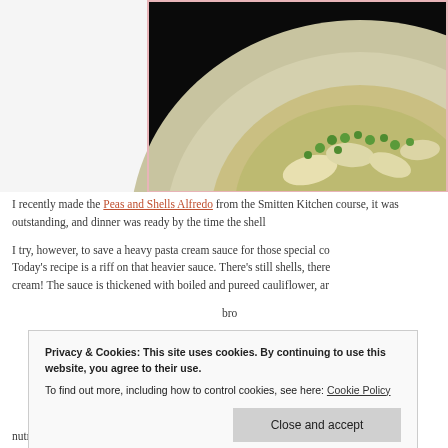[Figure (photo): Close-up photo of a plate with pasta shells, peas, and sauce on a round ceramic plate with dark background]
I recently made the Peas and Shells Alfredo from the Smitten Kitchen course, it was outstanding, and dinner was ready by the time the shells...
I try, however, to save a heavy pasta cream sauce for those special co... Today's recipe is a riff on that heavier sauce. There's still shells, there cream! The sauce is thickened with boiled and pureed cauliflower, an...
Cauliflower is one of the more if... bro... p... us...
Privacy & Cookies: This site uses cookies. By continuing to use this website, you agree to their use.
To find out more, including how to control cookies, see here: Cookie Policy
nutritional yeast, a little garlic, salt, pepper, and a dash of hot sauce,